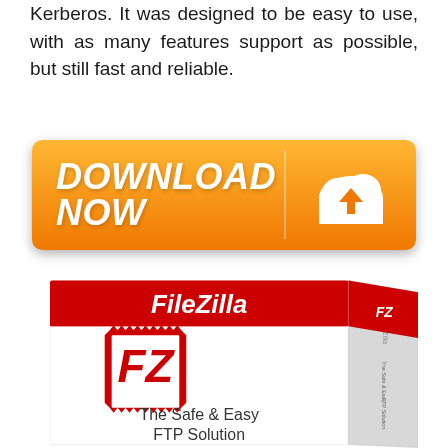Kerberos. It was designed to be easy to use, with as many features support as possible, but still fast and reliable.
[Figure (infographic): Orange gradient download button with 'DOWNLOAD NOW' text in bold white italic letters and a white cloud with down-arrow icon on the right side]
[Figure (photo): FileZilla software box product image showing the FileZilla logo (red stamp with FZ letters) on a white box with red top panel labeled FileZilla and tagline 'The Safe & Easy FTP Solution']